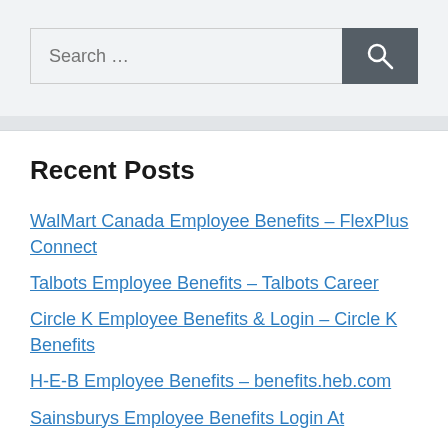[Figure (other): Search bar with text input field showing placeholder 'Search …' and a dark grey button with magnifying glass icon]
Recent Posts
WalMart Canada Employee Benefits – FlexPlus Connect
Talbots Employee Benefits – Talbots Career
Circle K Employee Benefits & Login – Circle K Benefits
H-E-B Employee Benefits – benefits.heb.com
Sainsburys Employee Benefits Login At